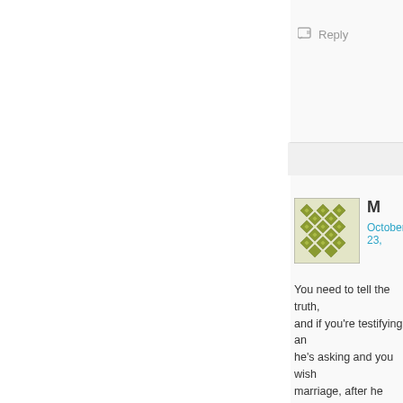Reply
M
October 23,
You need to tell the truth, and if you're testifying and he's asking and you wish marriage, after he married relationships are built on
If you don't know what's http://legacy.quran.com/b
Imagine yourself on the d while you have the chan
Loading...
Reply